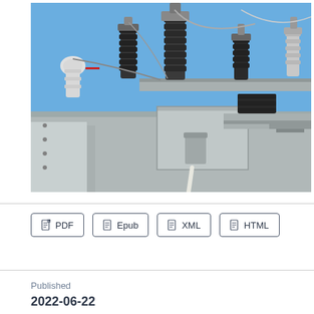[Figure (photo): Close-up photograph of electrical power transformer equipment showing insulators, bushings, conductors, and transformer housing against a blue sky background.]
PDF   Epub   XML   HTML
Published
2022-06-22